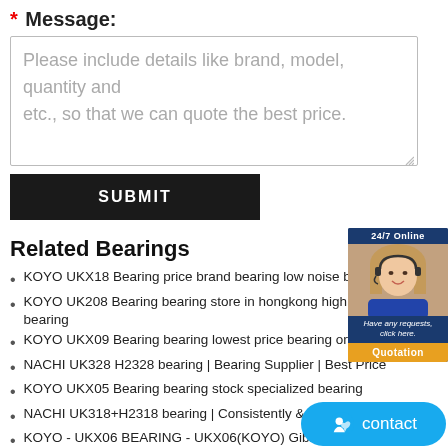* Message:
Please include details like brand, model, quantity and etc., so that we can quote the best price.
SUBMIT
Related Bearings
KOYO UKX18 Bearing price brand bearing low noise bearing
KOYO UK208 Bearing bearing store in hongkong high demand bearing
KOYO UKX09 Bearing bearing lowest price bearing online store
NACHI UK328 H2328 bearing | Bearing Supplier | Best Price
KOYO UKX05 Bearing bearing stock specialized bearing
NACHI UK318+H2318 bearing | Consistently & Reliably
KOYO - UKX06 BEARING - UKX06(KOYO) Gibraltar | CRB BEARING
KOYO UK308 Bearing fast shipping bearing beari
NACHI - UKX07 H2307 BEARING - UKX07 H2307(N
KOYO UK218 Bearing bearing stock find bearing here
[Figure (photo): Customer service agent widget with 24/7 Online label, photo of smiling woman with headset, 'Have any requests, click here.' text, and Quotation button.]
contact